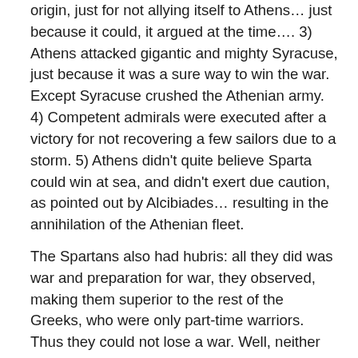origin, just for not allying itself to Athens… just because it could, it argued at the time…. 3) Athens attacked gigantic and mighty Syracuse, just because it was a sure way to win the war. Except Syracuse crushed the Athenian army. 4) Competent admirals were executed after a victory for not recovering a few sailors due to a storm. 5) Athens didn't quite believe Sparta could win at sea, and didn't exert due caution, as pointed out by Alcibiades… resulting in the annihilation of the Athenian fleet.
The Spartans also had hubris: all they did was war and preparation for war, they observed, making them superior to the rest of the Greeks, who were only part-time warriors. Thus they could not lose a war. Well, neither could they win one for 30 years. And that was a warning of more of the same: indeed, by introducing professionalization, and even romanticization of war, plus